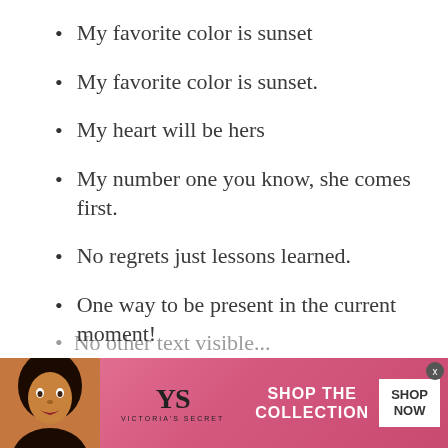My favorite color is sunset
My favorite color is sunset.
My heart will be hers
My number one you know, she comes first.
No regrets just lessons learned.
One way to be present in the current moment!
[Figure (photo): Advertisement banner for Victoria's Secret showing a woman model on the left, the VS logo in the center, 'SHOP THE COLLECTION' text, and a 'SHOP NOW' button on the right with an X close button in the top-right corner.]